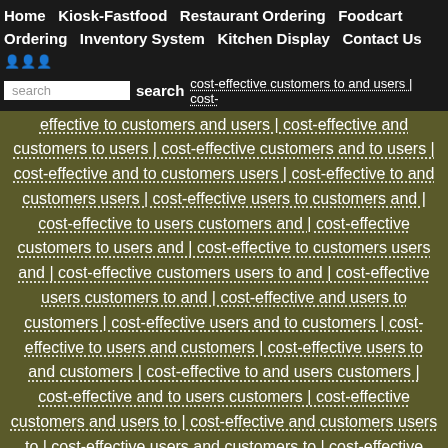Home  Kiosk-Fastfood  Restaurant Ordering  Foodcart Ordering  Inventory System  Kitchen Display  Contact Us
search  search  cost-effective customers to and users | cost-effective to customers and users | cost-effective and customers to users | cost-effective customers and to users | cost-effective and to customers users | cost-effective to and customers users | cost-effective users to customers and | cost-effective to users customers and | cost-effective customers to users and | cost-effective to customers users and | cost-effective customers users to and | cost-effective users customers to and | cost-effective and users to customers | cost-effective users and to customers | cost-effective to users and customers | cost-effective users to and customers | cost-effective to and users customers | cost-effective and to users customers | cost-effective customers and users to | cost-effective and customers users to | cost-effective users and customers to | cost-effective and users